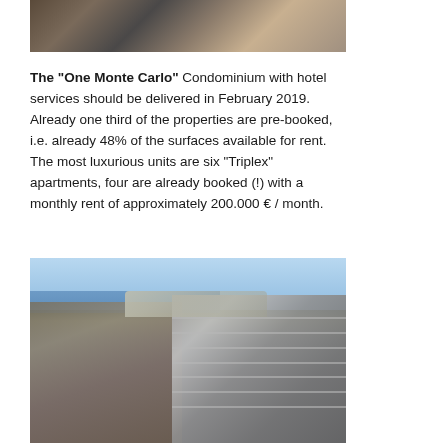[Figure (photo): Aerial or interior architectural photo strip at the top of the page]
The "One Monte Carlo" Condominium with hotel services should be delivered in February 2019. Already one third of the properties are pre-booked, i.e. already 48% of the surfaces available for rent. The most luxurious units are six "Triplex" apartments, four are already booked (!) with a monthly rent of approximately 200.000 € / month.
[Figure (photo): Aerial rendering/photo of the One Monte Carlo building complex showing a curved modern glass tower overlooking Monaco with the sea in the background]